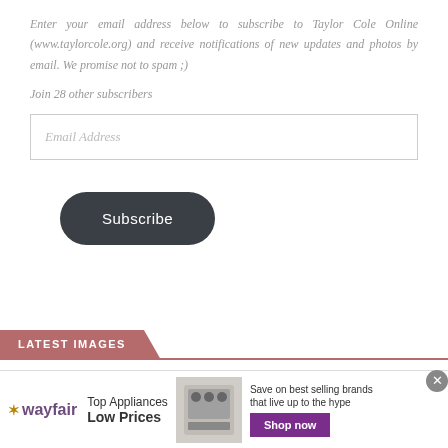Enter your email address below to subscribe to Taylor Cole Online (www.taylorcole.org) and receive notifications of new updates and photos by email. We promise not to spam ;)
Join 28 other subscribers
[Figure (screenshot): Email address input field (text box with placeholder 'Email Address')]
[Figure (screenshot): Dark rounded Subscribe button]
LATEST IMAGES
[Figure (screenshot): Wayfair advertisement banner: 'Top Appliances Low Prices', image of stove, 'Save on best selling brands that live up to the hype', purple 'Shop now' button]